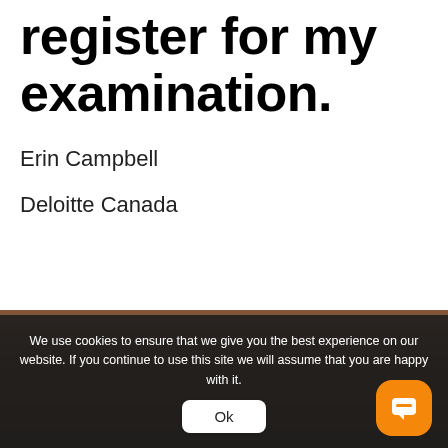register for my examination.
Erin Campbell
Deloitte Canada
[Figure (photo): Dark blurred background photo, likely showing people at a desk or exam setting]
We use cookies to ensure that we give you the best experience on our website. If you continue to use this site we will assume that you are happy with it.
Ok